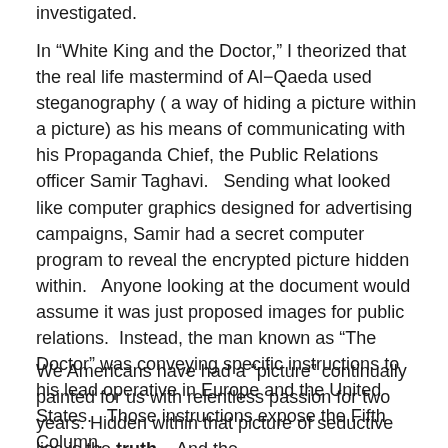investigated.
In “White King and the Doctor,” I theorized that the real life mastermind of Al-Qaeda used steganography ( a way of hiding a picture within a picture) as his means of communicating with his Propaganda Chief, the Public Relations officer Samir Taghavi.   Sending what looked like computer graphics designed for advertising campaigns, Samir had a secret computer program to reveal the encrypted picture hidden within.   Anyone looking at the document would assume it was just proposed images for public relations.  Instead, the man known as “The Doctor” was conveying specific instructions to his lead operative in Europe and the United States.   Those instructions expose the Fifth Column.
We Americans have had a “picture” continually painted for us with relentless passion for two years. Hidden within that picture of seductive lies is the truth.   And the